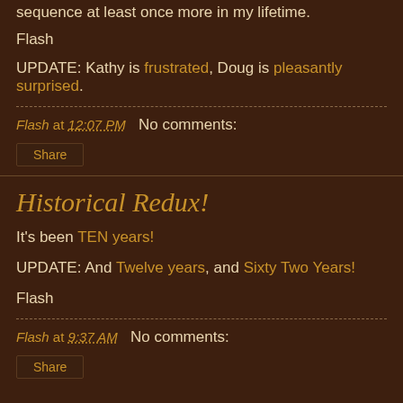sequence at least once more in my lifetime.
Flash
UPDATE: Kathy is frustrated, Doug is pleasantly surprised.
Flash at 12:07 PM   No comments:
Share
Historical Redux!
It's been TEN years!
UPDATE: And Twelve years, and Sixty Two Years!
Flash
Flash at 9:37 AM   No comments:
Share